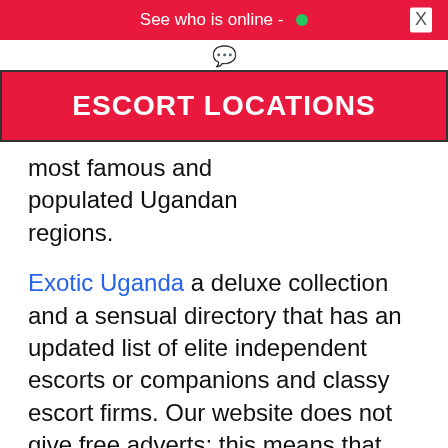See who is online -  •
ESCORT LOCATIONS
most famous and populated Ugandan regions.
Exotic Uganda a deluxe collection and a sensual directory that has an updated list of elite independent escorts or companions and classy escort firms. Our website does not give free adverts; this means that every post and advert on our site is subscribed for by genuine adult entertainers who are